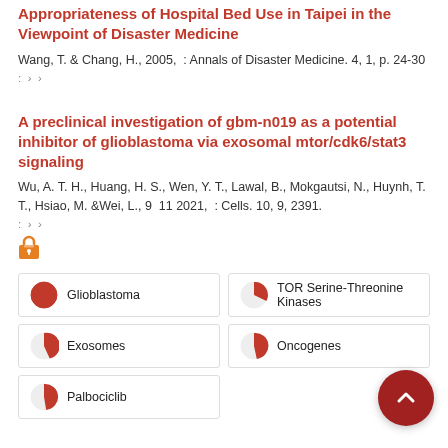Appropriateness of Hospital Bed Use in Taipei in the Viewpoint of Disaster Medicine
Wang, T. & Chang, H., 2005,  : Annals of Disaster Medicine. 4, 1, p. 24-30
:  ›  ›
A preclinical investigation of gbm-n019 as a potential inhibitor of glioblastoma via exosomal mtor/cdk6/stat3 signaling
Wu, A. T. H., Huang, H. S., Wen, Y. T., Lawal, B., Mokgautsi, N., Huynh, T. T., Hsiao, M. & Wei, L., 9  11 2021,  : Cells. 10, 9, 2391.
:  ›  ›
[Figure (other): Open access icon (unlocked padlock) in orange]
100% Glioblastoma
35% TOR Serine-Threonine Kinases
22% Exosomes
14% Oncogenes
12% Palbociclib